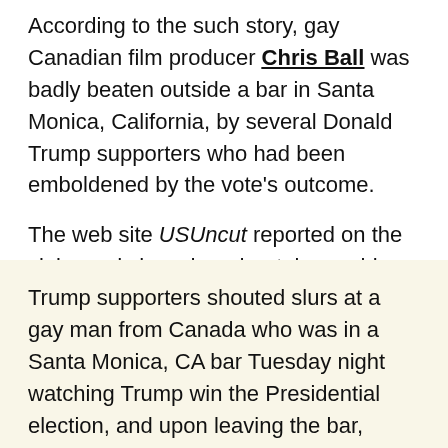According to the such story, gay Canadian film producer Chris Ball was badly beaten outside a bar in Santa Monica, California, by several Donald Trump supporters who had been emboldened by the vote's outcome.
The web site USUncut reported on the claim and shared moderately graphic Facebook screenshots documenting the aftermath of the purported attack:
Trump supporters shouted slurs at a gay man from Canada who was in a Santa Monica, CA bar Tuesday night watching Trump win the Presidential election, and upon leaving the bar,